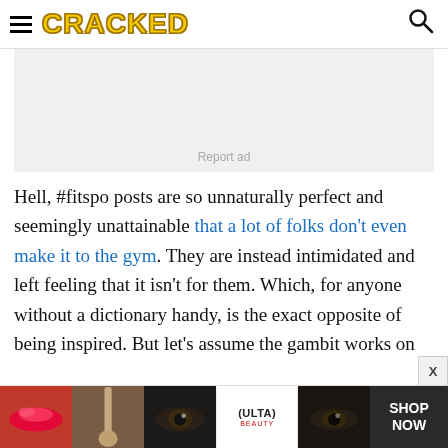CRACKED
[Figure (other): Advertisement placeholder box with 'Report ad' text]
Hell, #fitspo posts are so unnaturally perfect and seemingly unattainable that a lot of folks don't even make it to the gym. They are instead intimidated and left feeling that it isn't for them. Which, for anyone without a dictionary handy, is the exact opposite of being inspired. But let's assume the gambit works on
[Figure (photo): Ulta Beauty advertisement banner showing makeup imagery with 'SHOP NOW' text]